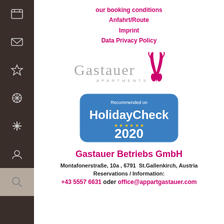our booking conditions
Anfahrt/Route
Imprint
Data Privacy Policy
[Figure (logo): Gastauer Apartments logo with stylized pink/magenta feather or antler icon and grey text 'Gastauer APARTMENTS']
[Figure (logo): HolidayCheck Recommended on 2020 badge with blue rounded rectangle, yellow stars]
Gastauer Betriebs GmbH
Montafonerstraße, 10a , 6791  St.Gallenkirch, Austria
Reservations / Information:
+43 5557 6631 oder office@appartgastauer.com